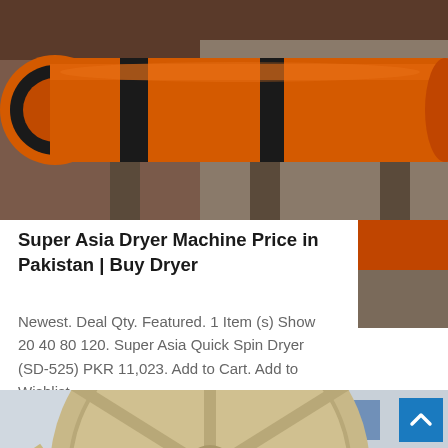[Figure (photo): Orange industrial rotary dryer machine/drum, photographed outdoors]
Super Asia Dryer Machine Price in Pakistan | Buy Dryer
Newest. Deal Qty. Featured. 1 Item (s) Show 20 40 80 120. Super Asia Quick Spin Dryer (SD-525) PKR 11,023. Add to Cart. Add to Wishlist
[Figure (photo): Large industrial wheel/bucket elevator or sand washing machine, beige/cream colored, photographed outdoors with buildings in background]